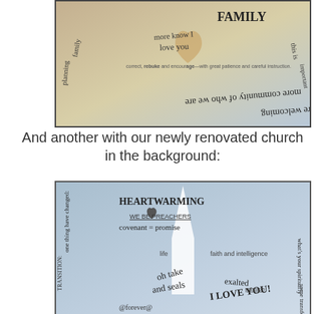[Figure (photo): Photo of handwritten notes on a transparent surface with the words 'FAMILY', 'more know I love you', 'correct, rebuke and encourage with great patience and careful instruction', and various handwritten phrases in different directions including 'more welcoming', 'more community of who we are']
And another with our newly renovated church in the background:
[Figure (photo): Photo of handwritten notes overlaid on a church steeple background. Contains words like 'HEARTWARMING', 'WE BE PREACHERS', 'covenant = promise', 'life', 'faith and intelligence', 'oh take and seals', 'exalted', 'I LOVE YOU!', 'passion', 'TRANSITION', and various other handwritten words around the border including 'what's your spiritually', 'one thing have changed']